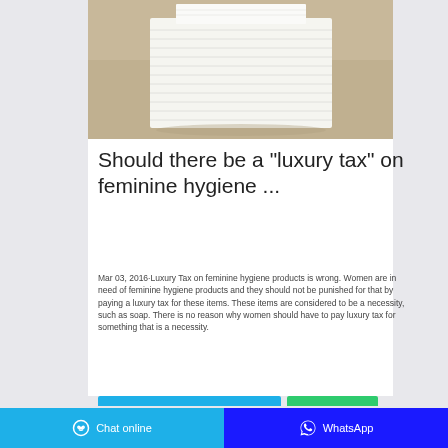[Figure (photo): A stack of white tissue/paper products on a beige/tan background, photographed from above at a slight angle.]
Should there be a "luxury tax" on feminine hygiene ...
Mar 03, 2016·Luxury Tax on feminine hygiene products is wrong. Women are in need of feminine hygiene products and they should not be punished for that by paying a luxury tax for these items. These items are considered to be a necessity, such as soap. There is no reason why women should have to pay luxury tax for something that is a necessity.
Chat online | WhatsApp